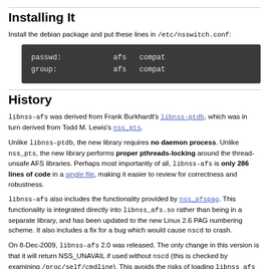Installing It
Install the debian package and put these lines in /etc/nsswitch.conf:
passwd:            afs   compat
group:             afs   compat
History
libnss-afs was derived from Frank Burkhardt's libnss-ptdb, which was in turn derived from Todd M. Lewis's nss_pts.
Unlike libnss-ptdb, the new library requires no daemon process. Unlike nss_pts, the new library performs proper pthreads-locking around the thread-unsafe AFS libraries. Perhaps most importantly of all, libnss-afs is only 286 lines of code in a single file, making it easier to review for correctness and robustness.
libnss-afs also includes the functionality provided by nss_afspag. This functionality is integrated directly into libnss_afs.so rather than being in a separate library, and has been updated to the new Linux 2.6 PAG numbering scheme. It also includes a fix for a bug which would cause nscd to crash.
On 8-Dec-2009, libnss-afs 2.0 was released. The only change in this version is that it will return NSS_UNAVAIL if used without nscd (this is checked by examining /proc/self/cmdline). This avoids the risks of loading libnss_afs into a process which is already linked to the AFS libraries, and